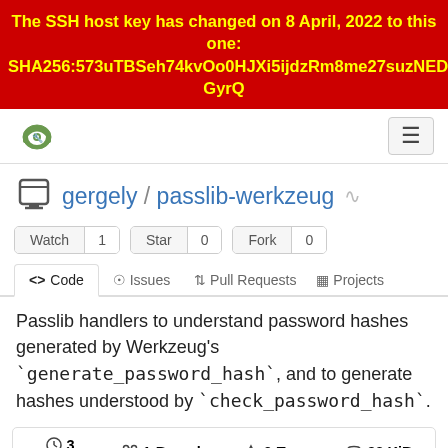The SSH host key has changed on 8 April, 2022 to this one:
SHA256:573uTBSeh74kvOo0HJXi5ijdzRm8me27suzNEDlGyrQ
[Figure (screenshot): Gitea navigation bar with logo and hamburger menu button]
gergely / passlib-werkzeug
Watch 1   Star 0   Fork 0
<> Code   Issues   Pull Requests   Projects
Passlib handlers to understand password hashes generated by Werkzeug's `generate_password_hash`, and to generate hashes understood by `check_password_hash`.
3 Commits   1 Branch   0 Tags   93 KiB